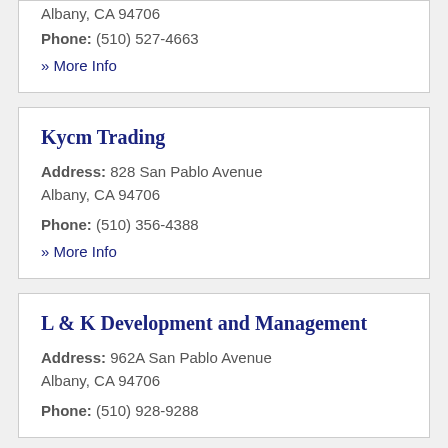Albany, CA 94706
Phone: (510) 527-4663
» More Info
Kycm Trading
Address: 828 San Pablo Avenue Albany, CA 94706
Phone: (510) 356-4388
» More Info
L & K Development and Management
Address: 962A San Pablo Avenue Albany, CA 94706
Phone: (510) 928-9288